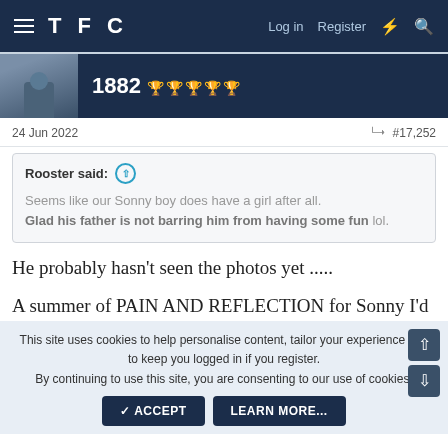TFC — Log in  Register
1882 🏆🏆🏆🏆🏆
24 Jun 2022  #17,252
Rooster said: Seems like our Sonny boy does have a girl after all. Glad his father is not barring him from having some fun lol.
He probably hasn't seen the photos yet .....
A summer of PAIN AND REFLECTION for Sonny I'd
This site uses cookies to help personalise content, tailor your experience and to keep you logged in if you register. By continuing to use this site, you are consenting to our use of cookies.